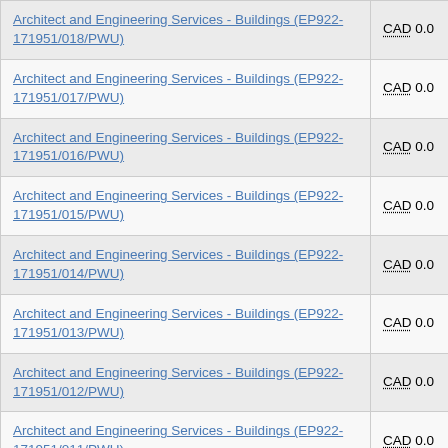| Contract Title | Amount |
| --- | --- |
| Architect and Engineering Services - Buildings (EP922-171951/018/PWU) | CAD 0.0 |
| Architect and Engineering Services - Buildings (EP922-171951/017/PWU) | CAD 0.0 |
| Architect and Engineering Services - Buildings (EP922-171951/016/PWU) | CAD 0.0 |
| Architect and Engineering Services - Buildings (EP922-171951/015/PWU) | CAD 0.0 |
| Architect and Engineering Services - Buildings (EP922-171951/014/PWU) | CAD 0.0 |
| Architect and Engineering Services - Buildings (EP922-171951/013/PWU) | CAD 0.0 |
| Architect and Engineering Services - Buildings (EP922-171951/012/PWU) | CAD 0.0 |
| Architect and Engineering Services - Buildings (EP922-171951/011/PWU) | CAD 0.0 |
| Architect and Engineering Services - Buildings (EP922-171951/010/PWU) | CAD 0.0 |
| Architect and Engineering Services - Buildings (EP922-171951/009/PWU) | CAD 0.0 |